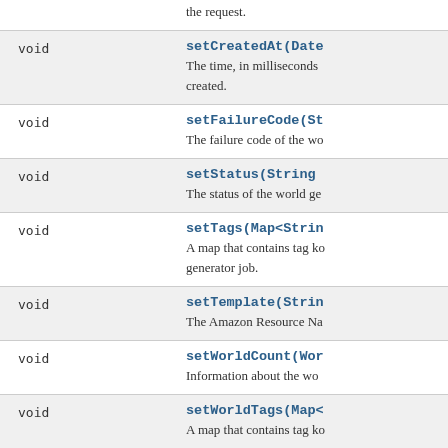|  |  |
| --- | --- |
| void | setCreatedAt(Date
The time, in milliseconds
created. |
| void | setFailureCode(St
The failure code of the wo |
| void | setStatus(String
The status of the world ge |
| void | setTags(Map<Strin
A map that contains tag ko
generator job. |
| void | setTemplate(Strin
The Amazon Resource Na |
| void | setWorldCount(Wor
Information about the wo |
| void | setWorldTags(Map<
A map that contains tag ko |